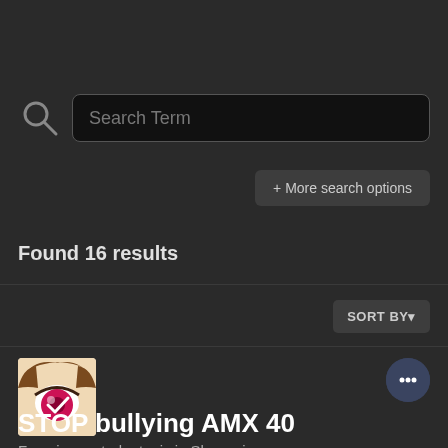[Figure (screenshot): Search bar interface with magnifying glass icon and 'Search Term' placeholder text inside a dark input box]
+ More search options
Found 16 results
SORT BY▾
[Figure (illustration): Avatar icon showing a stylized anime eye with pink/magenta iris and brown hair strands, on a beige background]
STOP bullying AMX 40
Frenzier posted a topic in Shenanigans